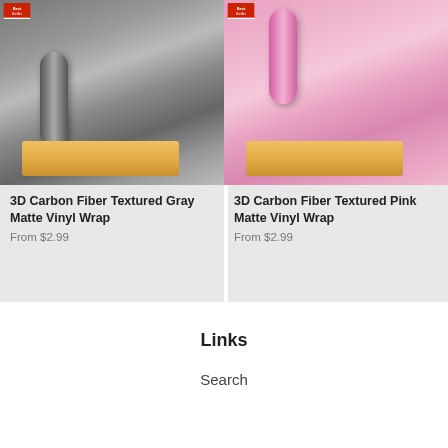[Figure (photo): 3D Carbon Fiber Textured Gray Matte Vinyl Wrap product photo showing vinyl roll and car background]
3D Carbon Fiber Textured Gray Matte Vinyl Wrap
From $2.99
[Figure (photo): 3D Carbon Fiber Textured Pink Matte Vinyl Wrap product photo showing pink vinyl roll and car background]
3D Carbon Fiber Textured Pink Matte Vinyl Wrap
From $2.99
Links
Search